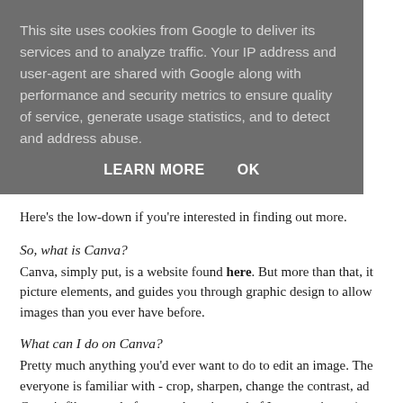This site uses cookies from Google to deliver its services and to analyze traffic. Your IP address and user-agent are shared with Google along with performance and security metrics to ensure quality of service, generate usage statistics, and to detect and address abuse.
LEARN MORE    OK
Here's the low-down if you're interested in finding out more.
So, what is Canva?
Canva, simply put, is a website found here. But more than that, it picture elements, and guides you through graphic design to allow images than you ever have before.
What can I do on Canva?
Pretty much anything you'd ever want to do to edit an image. The everyone is familiar with - crop, sharpen, change the contrast, ad Canva's filters, and often use those instead of Instagram's now).